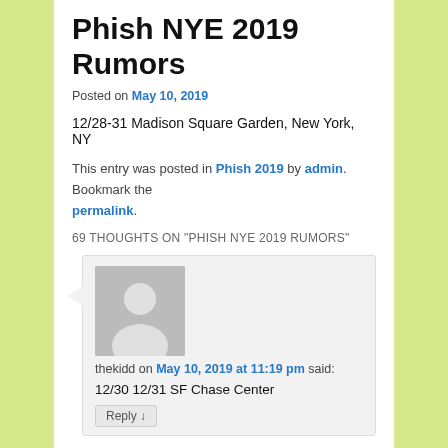Phish NYE 2019 Rumors
Posted on May 10, 2019
12/28-31 Madison Square Garden, New York, NY
This entry was posted in Phish 2019 by admin. Bookmark the permalink.
69 THOUGHTS ON "PHISH NYE 2019 RUMORS"
thekidd on May 10, 2019 at 11:19 pm said: 12/30 12/31 SF Chase Center